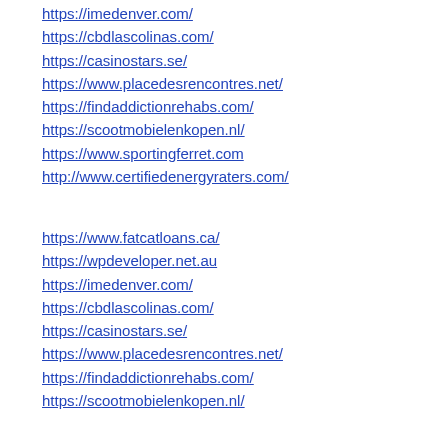https://imedenver.com/
https://cbdlascolinas.com/
https://casinostars.se/
https://www.placedesrencontres.net/
https://findaddictionrehabs.com/
https://scootmobielenkopen.nl/
https://www.sportingferret.com
http://www.certifiedenergyraters.com/
https://www.fatcatloans.ca/
https://wpdeveloper.net.au
https://imedenver.com/
https://cbdlascolinas.com/
https://casinostars.se/
https://www.placedesrencontres.net/
https://findaddictionrehabs.com/
https://scootmobielenkopen.nl/